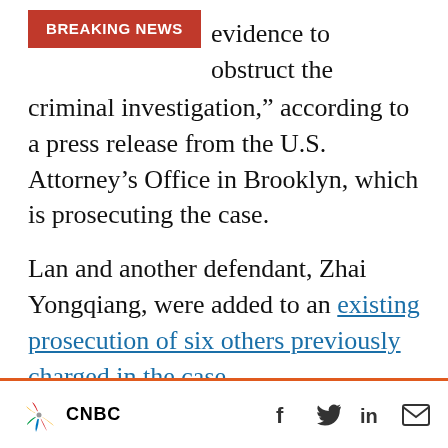evidence to obstruct the criminal investigation," according to a press release from the U.S. Attorney's Office in Brooklyn, which is prosecuting the case.
Lan and another defendant, Zhai Yongqiang, were added to an existing prosecution of six others previously charged in the case.
One of those prior defendants is Michael McMahon, a Mahwah, New Jersey, resident and retired NYPD detective sergeant who had become a private investigator.
CNBC